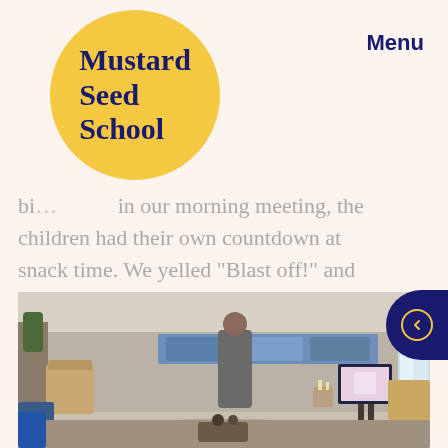[Figure (logo): Mustard Seed School logo — yellow circle with dark navy bold serif text reading 'Mustard Seed School']
Menu
bi... in our morning meeting, the children had their own countdown at snack time. We yelled “Blast off!” and cheered as we watched footage of her spaceship taking off and shooting into space…
[Figure (photo): Classroom scene with teacher standing and children seated on a rug, blue decorative panels on the wall, a screen showing a pink and white image, candles, and various furniture in a warm educational setting.]